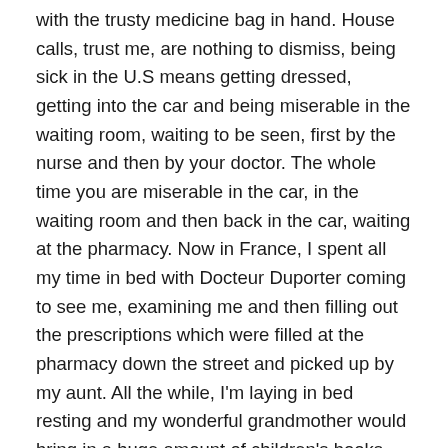with the trusty medicine bag in hand. House calls, trust me, are nothing to dismiss, being sick in the U.S means getting dressed, getting into the car and being miserable in the waiting room, waiting to be seen, first by the nurse and then by your doctor. The whole time you are miserable in the car, in the waiting room and then back in the car, waiting at the pharmacy. Now in France, I spent all my time in bed with Docteur Duporter coming to see me, examining me and then filling out the prescriptions which were filled at the pharmacy down the street and picked up by my aunt. All the while, I'm laying in bed resting and my wonderful grandmother would bring in a huge amount of children's books. My grandmother would also take it upon herself to bring me my meals in bed and she would make me her famous rice pudding. She should have been a nurse, she was never happier than when you were laying